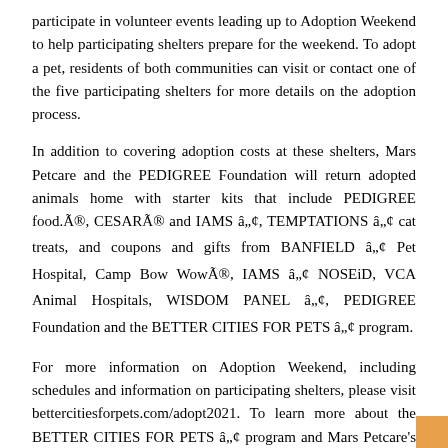participate in volunteer events leading up to Adoption Weekend to help participating shelters prepare for the weekend. To adopt a pet, residents of both communities can visit or contact one of the five participating shelters for more details on the adoption process.
In addition to covering adoption costs at these shelters, Mars Petcare and the PEDIGREE Foundation will return adopted animals home with starter kits that include PEDIGREE food.Â®, CESARÂ® and IAMS â„¢, TEMPTATIONS â„¢ cat treats, and coupons and gifts from BANFIELD â„¢ Pet Hospital, Camp Bow WowÂ®, IAMS â„¢ NOSEiD, VCA Animal Hospitals, WISDOM PANEL â„¢, PEDIGREE Foundation and the BETTER CITIES FOR PETS â„¢ program.
For more information on Adoption Weekend, including schedules and information on participating shelters, please visit bettercitiesforpets.com/adopt2021. To learn more about the BETTER CITIES FOR PETS â„¢ program and Mars Petcare's work with cities and governments to educate people about the benefits of pet ownership by advocating for pet-friendly spaces, visit www.bettercitiesforpets.com.
About BETTER CITIES FOR PETS â„¢